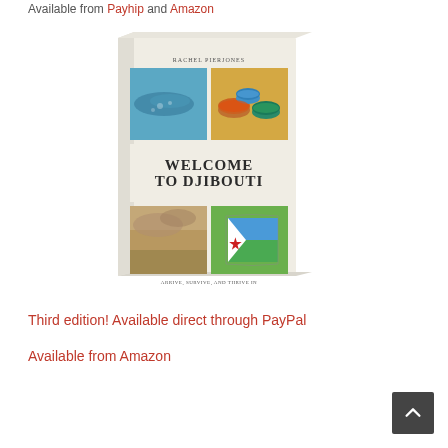Available from Payhip and Amazon
[Figure (illustration): Book cover of 'Welcome to Djibouti' by Rachel Pierjones. The cover shows four photos: an underwater scene with a whale shark, colorful spices in bowls, a sandy desert landscape, and a Djibouti flag. The title reads 'WELCOME TO DJIBOUTI' and the subtitle reads 'Arrive, Survive, and Thrive in the Hottest Country on Earth'. The book is shown at a slight angle showing the spine.]
Third edition! Available direct through PayPal
Available from Amazon